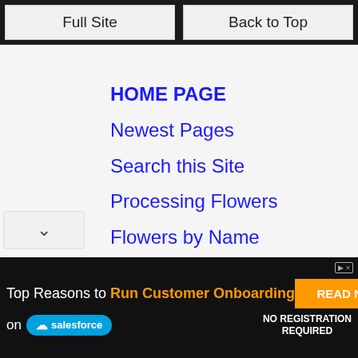Full Site | Back to Top
HOME PAGE
Newest Pages
Search this Site
Processing Flowers
Flowers by Name
Flowers by Color
Unique Flowers
Calculating Flowers
[Figure (screenshot): Advertisement banner: Top Reasons to Run Customer Onboarding on Salesforce. READ NOW button. NO REGISTRATION REQUIRED.]